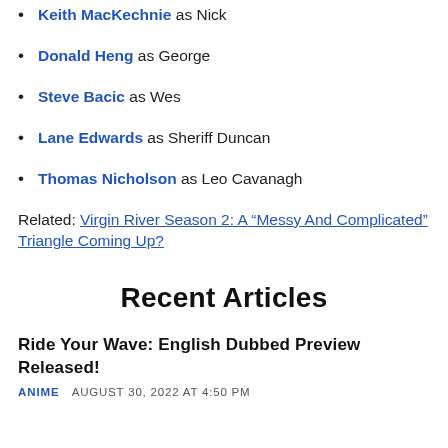Keith MacKechnie as Nick
Donald Heng as George
Steve Bacic as Wes
Lane Edwards as Sheriff Duncan
Thomas Nicholson as Leo Cavanagh
Related: Virgin River Season 2: A “Messy And Complicated” Triangle Coming Up?
Recent Articles
Ride Your Wave: English Dubbed Preview Released!
ANIME   AUGUST 30, 2022 AT 4:50 PM